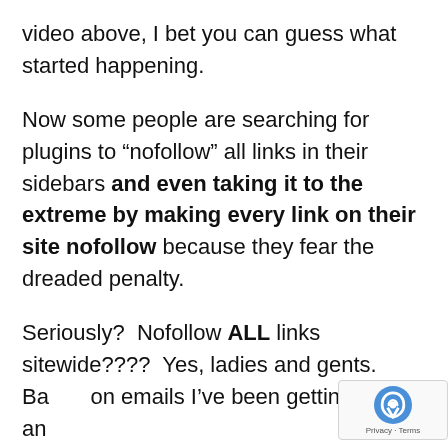video above, I bet you can guess what started happening.
Now some people are searching for plugins to “nofollow” all links in their sidebars and even taking it to the extreme by making every link on their site nofollow because they fear the dreaded penalty.
Seriously?  Nofollow ALL links sitewide????  Yes, ladies and gents.  Based on emails I’ve been getting, this is an